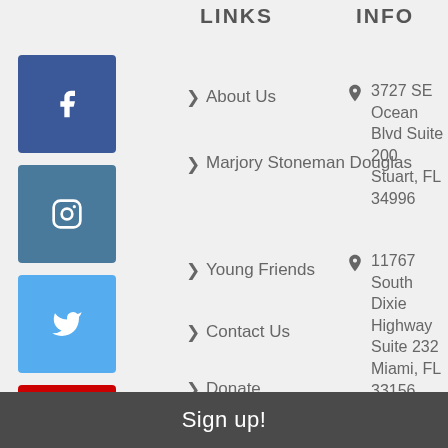LINKS
INFO
[Figure (logo): Facebook social media icon - blue square with white f]
[Figure (logo): Instagram social media icon - teal square with white camera outline]
[Figure (logo): Twitter social media icon - blue square with white bird]
[Figure (logo): YouTube social media icon - red square with white play button]
About Us
Marjory Stoneman Douglas
Young Friends
Contact Us
Donate
3727 SE Ocean Blvd Suite 200 Stuart, FL 34996
11767 South Dixie Highway Suite 232 Miami, FL 33156
(305) 669-0858
info@everglade
Friends of the Everglades is a tax-exempt,
Sign up!